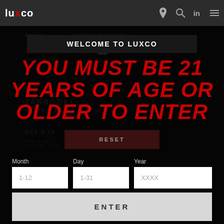luxco — navigation bar with logo and icons
WELCOME TO LUXCO
YOU MUST BE 21 YEARS OF AGE OR OLDER TO ENTER
RESET
Month 1-12 | Day 1-31 | Year XXXX
ENTER